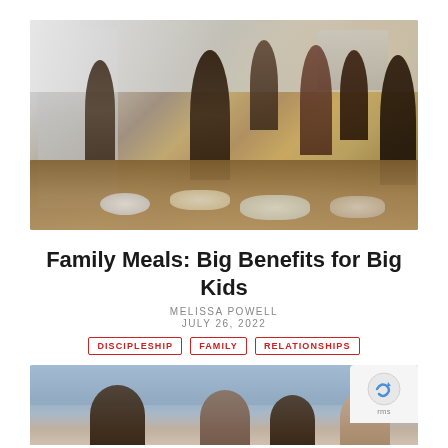[Figure (photo): A large Black family gathered around a kitchen counter/table covered with food dishes, sharing a meal together. Adults and children of various ages are present in a bright kitchen setting.]
Family Meals: Big Benefits for Big Kids
MELISSA POWELL
JULY 26, 2022
DISCIPLESHIP  FAMILY  RELATIONSHIPS
[Figure (photo): A group of people outdoors with mountains and sky visible in the background, partially visible at the bottom of the page.]